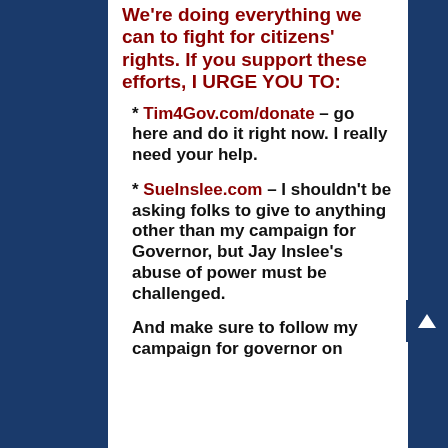We're doing everything we can to fight for citizens' rights. If you support these efforts, I URGE YOU TO:
* Tim4Gov.com/donate – go here and do it right now. I really need your help.
* SueInslee.com – I shouldn't be asking folks to give to anything other than my campaign for Governor, but Jay Inslee's abuse of power must be challenged.
And make sure to follow my campaign for governor on